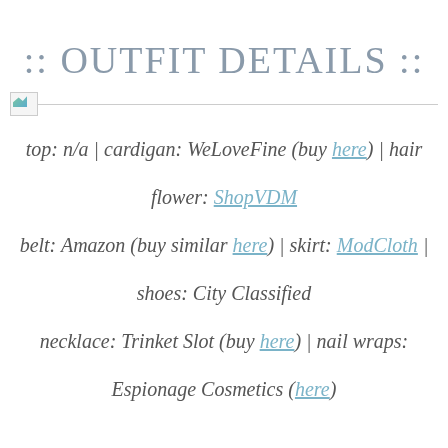:: OUTFIT DETAILS ::
[Figure (photo): Broken image placeholder with a horizontal line extending to the right]
top: n/a | cardigan: WeLoveFine (buy here) | hair flower: ShopVDM belt: Amazon (buy similar here) | skirt: ModCloth | shoes: City Classified necklace: Trinket Slot (buy here) | nail wraps: Espionage Cosmetics (here)